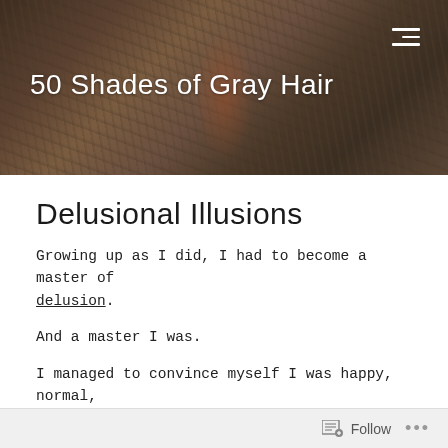[Figure (photo): Blog header banner with dark brown textured background resembling tangled branches or hair, with white text overlay showing blog title and hamburger menu icon]
50 Shades of Gray Hair
Delusional Illusions
Growing up as I did, I had to become a master of delusion.
And a master I was.
I managed to convince myself I was happy, normal, thriving, even exceptional at times.
But, as with everything in life, it ends.
Follow   •••